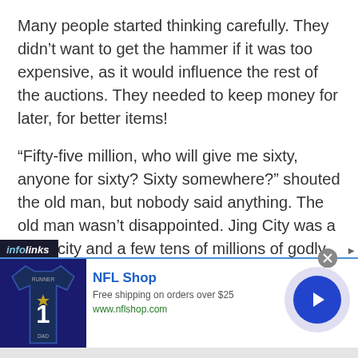Many people started thinking carefully. They didn't want to get the hammer if it was too expensive, as it would influence the rest of the auctions. They needed to keep money for later, for better items!
“Fifty-five million, who will give me sixty, anyone for sixty? Sixty somewhere?” shouted the old man, but nobody said anything. The old man wasn’t disappointed. Jing City was a huge city and a few tens of millions of godly coins weren’t much for them. They didn’t need them urgently.
[Figure (infographic): Infolinks advertisement banner for NFL Shop showing a Dallas Cowboys jersey, text 'NFL Shop', 'Free shipping on orders over $25', 'www.nflshop.com', a circular blue arrow button, and a close button.]